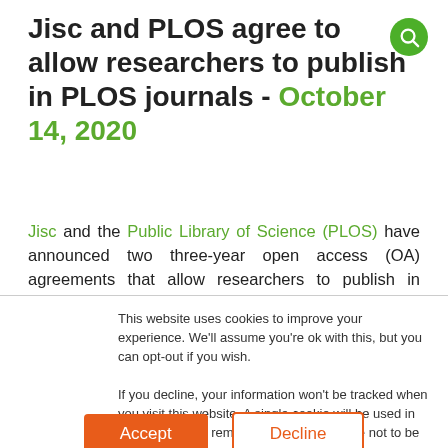Jisc and PLOS agree to allow researchers to publish in PLOS journals - October 14, 2020
Jisc and the Public Library of Science (PLOS) have announced two three-year open access (OA) agreements that allow researchers to publish in PLOS journals without incurring article processing charges
This website uses cookies to improve your experience. We'll assume you're ok with this, but you can opt-out if you wish.
If you decline, your information won't be tracked when you visit this website. A single cookie will be used in your browser to remember your preference not to be tracked.